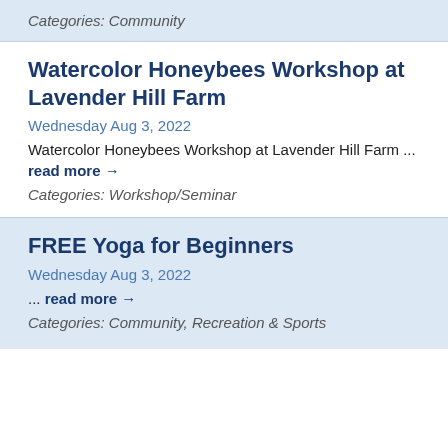Categories: Community
Watercolor Honeybees Workshop at Lavender Hill Farm
Wednesday Aug 3, 2022
Watercolor Honeybees Workshop at Lavender Hill Farm ... read more →
Categories: Workshop/Seminar
FREE Yoga for Beginners
Wednesday Aug 3, 2022
... read more →
Categories: Community, Recreation & Sports